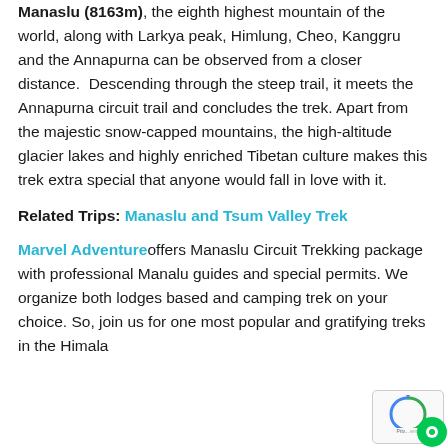Manaslu (8163m), the eighth highest mountain of the world, along with Larkya peak, Himlung, Cheo, Kanggru and the Annapurna can be observed from a closer distance.  Descending through the steep trail, it meets the Annapurna circuit trail and concludes the trek. Apart from the majestic snow-capped mountains, the high-altitude glacier lakes and highly enriched Tibetan culture makes this trek extra special that anyone would fall in love with it.
Related Trips: Manaslu and Tsum Valley Trek
Marvel Adventure offers Manaslu Circuit Trekking package with professional Manalu guides and special permits. We organize both lodges based and camping trek on your choice. So, join us for one most popular and gratifying treks in the Himala...